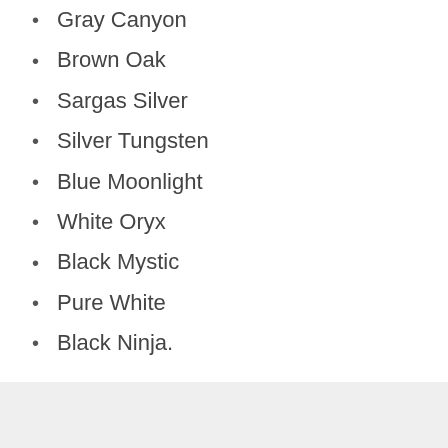Gray Canyon
Brown Oak
Sargas Silver
Silver Tungsten
Blue Moonlight
White Oryx
Black Mystic
Pure White
Black Ninja.